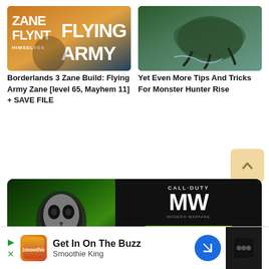[Figure (screenshot): Borderlands 3 thumbnail showing 'ZANE FLYNT THEMSELVES' text on left and 'FLYING ARMY' text in large white letters on orange/blue background]
[Figure (screenshot): Monster Hunter Rise screenshot showing a large creature/monster attacking in an outdoor environment]
Borderlands 3 Zane Build: Flying Army Zane [level 65, Mayhem 11] + SAVE FILE
Yet Even More Tips And Tricks For Monster Hunter Rise
[Figure (screenshot): Call of Duty Modern Warfare 2 Maps banner advertisement featuring Ghost skull mask character on green background, GAMESATLAS badge, CALL DUTY MW2 logo, and green MAPS button]
[Figure (advertisement): Bottom advertisement bar: Get In On The Buzz - Smoothie King ad with play button, Smoothie King logo, navigation icon and dark right panel]